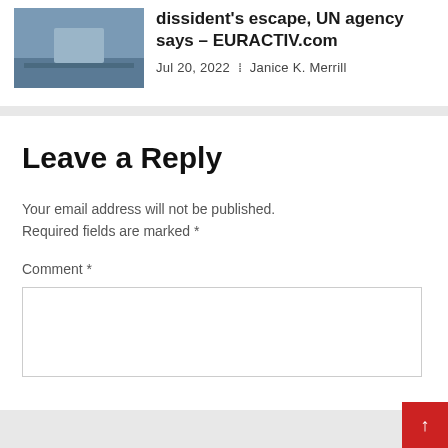dissident's escape, UN agency says – EURACTIV.com
Jul 20, 2022 · Janice K. Merrill
Leave a Reply
Your email address will not be published. Required fields are marked *
Comment *